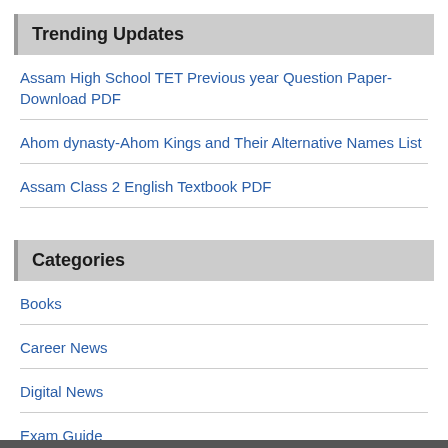Trending Updates
Assam High School TET Previous year Question Paper-Download PDF
Ahom dynasty-Ahom Kings and Their Alternative Names List
Assam Class 2 English Textbook PDF
Categories
Books
Career News
Digital News
Exam Guide
GK